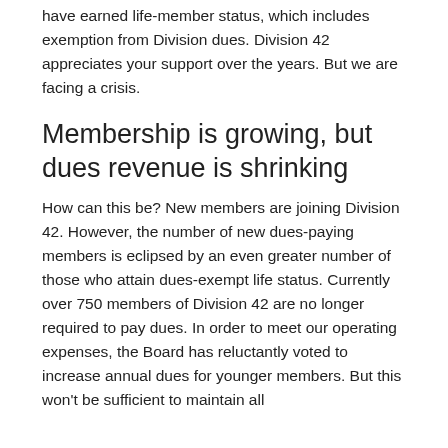have earned life-member status, which includes exemption from Division dues. Division 42 appreciates your support over the years. But we are facing a crisis.
Membership is growing, but dues revenue is shrinking
How can this be? New members are joining Division 42. However, the number of new dues-paying members is eclipsed by an even greater number of those who attain dues-exempt life status. Currently over 750 members of Division 42 are no longer required to pay dues. In order to meet our operating expenses, the Board has reluctantly voted to increase annual dues for younger members. But this won't be sufficient to maintain all